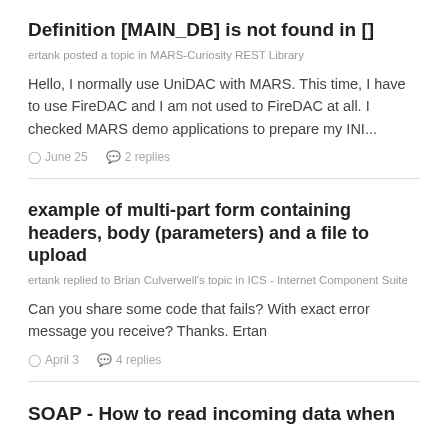Definition [MAIN_DB] is not found in []
ertank posted a topic in MARS-Curiosity REST Library
Hello, I normally use UniDAC with MARS. This time, I have to use FireDAC and I am not used to FireDAC at all. I checked MARS demo applications to prepare my INI...
June 25   2 replies
example of multi-part form containing headers, body (parameters) and a file to upload
ertank replied to Brian Culverwell's topic in ICS - Internet Component Suite
Can you share some code that fails? With exact error message you receive? Thanks. Ertan
April 3   4 replies
SOAP - How to read incoming data when